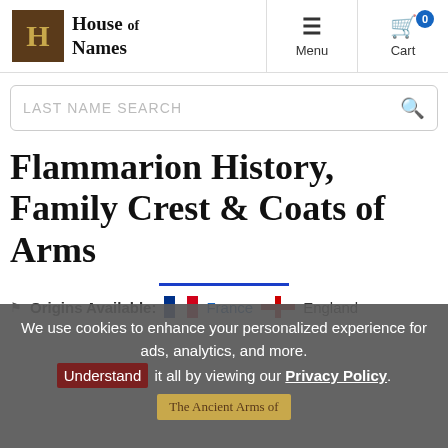House of Names — Menu — Cart
[Figure (screenshot): Search bar with LAST NAME SEARCH placeholder and magnifier icon]
Flammarion History, Family Crest & Coats of Arms
Origins Available: France England
We use cookies to enhance your personalized experience for ads, analytics, and more. Understand it all by viewing our Privacy Policy.
The Ancient Arms of